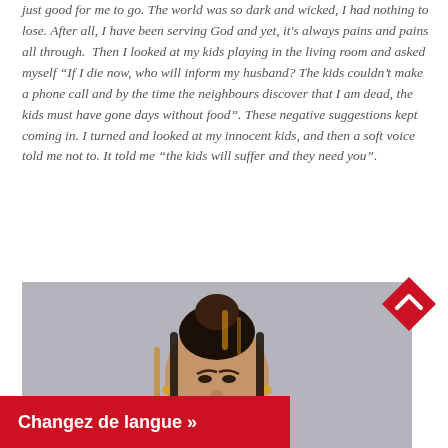just good for me to go. The world was so dark and wicked, I had nothing to lose. After all, I have been serving God and yet, it's always pains and pains all through. Then I looked at my kids playing in the living room and asked myself "If I die now, who will inform my husband? The kids couldn't make a phone call and by the time the neighbours discover that I am dead, the kids must have gone days without food". These negative suggestions kept coming in. I turned and looked at my innocent kids, and then a soft voice told me not to. It told me "the kids will suffer and they need you".
[Figure (photo): Portrait photo of a woman with braided hair pulled up, wearing earrings, against a grey background]
Changez de langue »